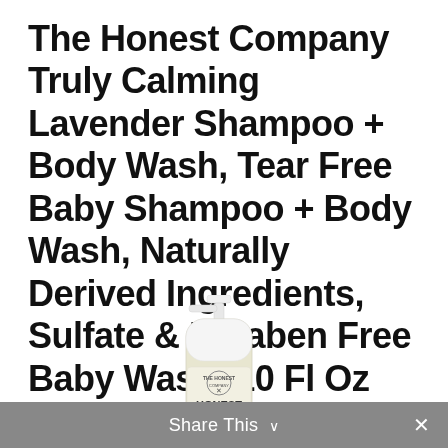The Honest Company Truly Calming Lavender Shampoo + Body Wash, Tear Free Baby Shampoo + Body Wash, Naturally Derived Ingredients, Sulfate & Paraben Free Baby Wash, 10 Fl Oz
[Figure (photo): The Honest Company Truly Calming Lavender Shampoo + Body Wash bottle with pump top, white cap, light yellow/clear product, with lavender and blue label design showing HONEST branding]
Share This ∨  ×